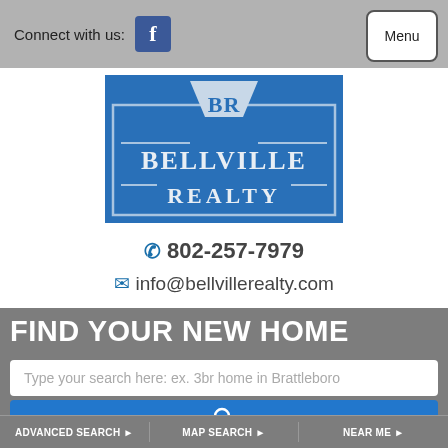Connect with us:
[Figure (logo): Bellville Realty logo — blue rectangle with trapezoid shape containing BR letters and company name BELLVILLE REALTY in white on blue background]
802-257-7979
info@bellvillerealty.com
FIND YOUR NEW HOME
Type your search here: ex. 3br home in Brattleboro
ADVANCED SEARCH  MAP SEARCH  NEAR ME